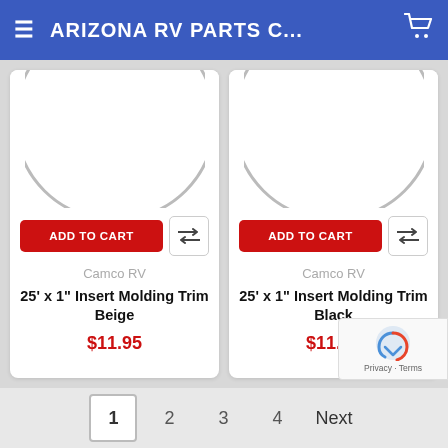ARIZONA RV PARTS C...
[Figure (screenshot): Product card: Camco RV 25'x1" Insert Molding Trim Beige, $11.95, with ADD TO CART button]
[Figure (screenshot): Product card: Camco RV 25'x1" Insert Molding Trim Black, $11.95, with ADD TO CART button]
1  2  3  4  Next